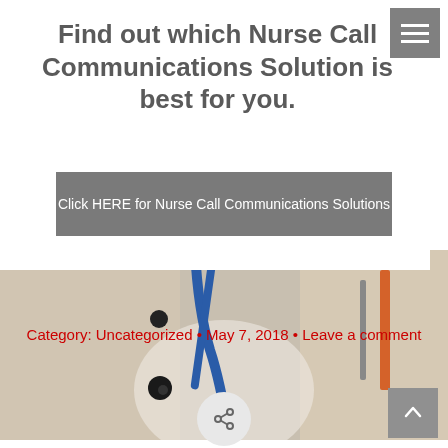Find out which Nurse Call Communications Solution is best for you.
Click HERE for Nurse Call Communications Solutions
[Figure (photo): Blurred medical background showing stethoscope, blue lanyard, and medical instruments]
Category: Uncategorized • May 7, 2018 • Leave a comment